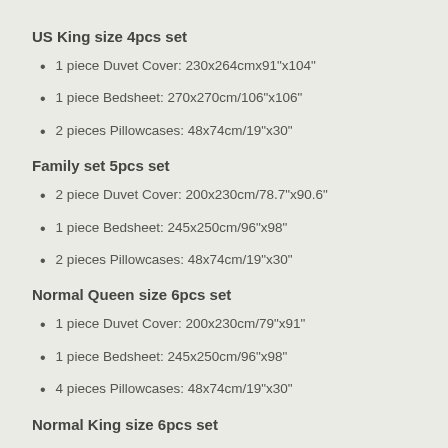US King size 4pcs set
1 piece Duvet Cover: 230x264cmx91"x104"
1 piece Bedsheet: 270x270cm/106"x106"
2 pieces Pillowcases: 48x74cm/19"x30"
Family set 5pcs set
2 piece Duvet Cover: 200x230cm/78.7"x90.6"
1 piece Bedsheet: 245x250cm/96"x98"
2 pieces Pillowcases: 48x74cm/19"x30"
Normal Queen size 6pcs set
1 piece Duvet Cover: 200x230cm/79"x91"
1 piece Bedsheet: 245x250cm/96"x98"
4 pieces Pillowcases: 48x74cm/19"x30"
Normal King size 6pcs set